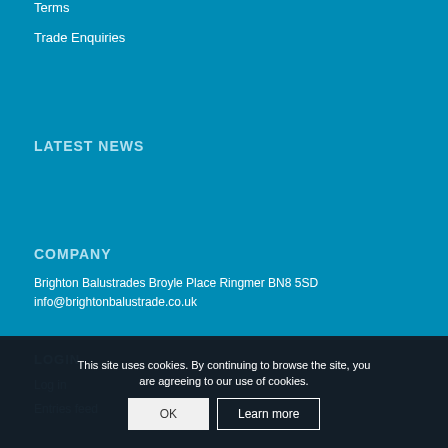Terms
Trade Enquiries
LATEST NEWS
COMPANY
Brighton Balustrades Broyle Place Ringmer BN8 5SD
info@brightonbalustrade.co.uk
LOGIN
Log in
Entries feed
This site uses cookies. By continuing to browse the site, you are agreeing to our use of cookies.